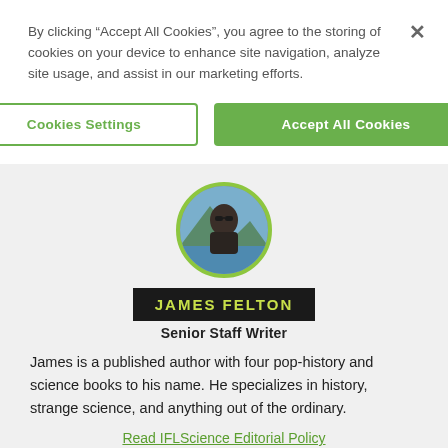By clicking “Accept All Cookies”, you agree to the storing of cookies on your device to enhance site navigation, analyze site usage, and assist in our marketing efforts.
Cookies Settings
Accept All Cookies
[Figure (photo): Circular profile photo of James Felton with a green border, showing a man wearing sunglasses outdoors near water and mountains.]
JAMES FELTON
Senior Staff Writer
James is a published author with four pop-history and science books to his name. He specializes in history, strange science, and anything out of the ordinary.
Read IFLScience Editorial Policy